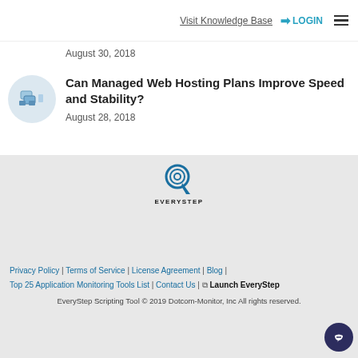Visit Knowledge Base | LOGIN
August 30, 2018
Can Managed Web Hosting Plans Improve Speed and Stability?
August 28, 2018
[Figure (logo): EveryStep logo with cursor/click icon and text EVERYSTEP]
Privacy Policy | Terms of Service | License Agreement | Blog | Top 25 Application Monitoring Tools List | Contact Us | Launch EveryStep
EveryStep Scripting Tool © 2019 Dotcom-Monitor, Inc All rights reserved.